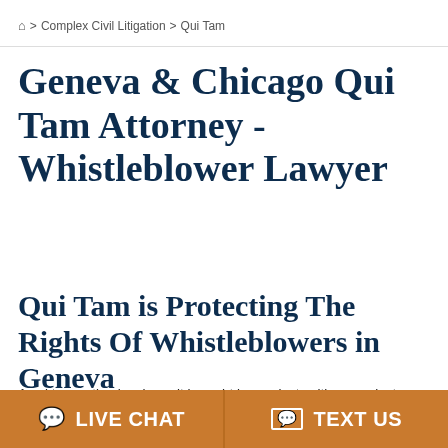🏠 > Complex Civil Litigation > Qui Tam
Geneva & Chicago Qui Tam Attorney - Whistleblower Lawyer
Qui Tam is Protecting The Rights Of Whistleblowers in Geneva
A qui tam action is a lawsuit brought by a private citizen against a
LIVE CHAT   TEXT US